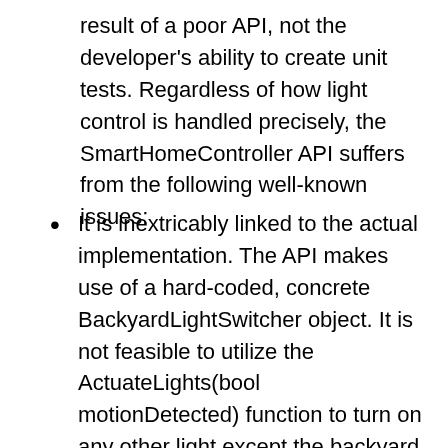result of a poor API, not the developer's ability to create unit tests. Regardless of how light control is handled precisely, the SmartHomeController API suffers from the following well-known issues:
It is inextricably linked to the actual implementation. The API makes use of a hard-coded, concrete BackyardLightSwitcher object. It is not feasible to utilize the ActuateLights(bool motionDetected) function to turn on any other light except the backyard light;
It is a violation of the Principle of Single Responsibility. The API is changing for two reasons: First, modifications to the internal logic (for example, selecting to turn on the